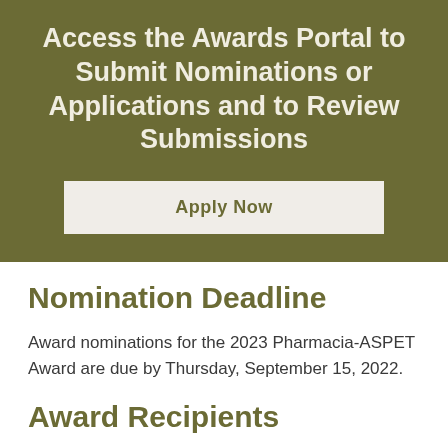Access the Awards Portal to Submit Nominations or Applications and to Review Submissions
Apply Now
Nomination Deadline
Award nominations for the 2023 Pharmacia-ASPET Award are due by Thursday, September 15, 2022.
Award Recipients